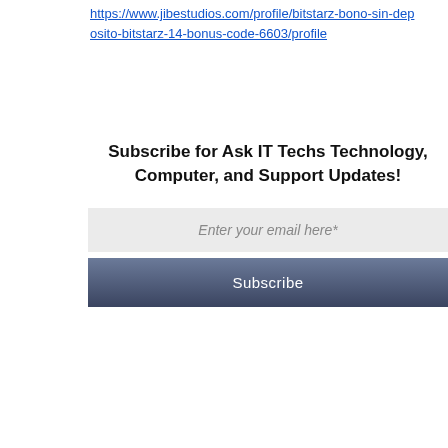https://www.jibestudios.com/profile/bitstarz-bono-sin-deposito-bitstarz-14-bonus-code-6603/profile
Subscribe for Ask IT Techs Technology, Computer, and Support Updates!
[Figure (other): Email subscription form with a text input field labeled 'Enter your email here*' and a dark blue-gray Subscribe button]